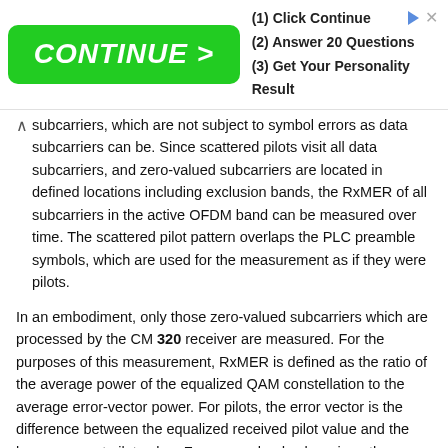[Figure (other): Advertisement banner with green CONTINUE > button and text: (1) Click Continue, (2) Answer 20 Questions, (3) Get Your Personality Result]
subcarriers, which are not subject to symbol errors as data subcarriers can be. Since scattered pilots visit all data subcarriers, and zero-valued subcarriers are located in defined locations including exclusion bands, the RxMER of all subcarriers in the active OFDM band can be measured over time. The scattered pilot pattern overlaps the PLC preamble symbols, which are used for the measurement as if they were pilots.
In an embodiment, only those zero-valued subcarriers which are processed by the CM 320 receiver are measured. For the purposes of this measurement, RxMER is defined as the ratio of the average power of the equalized QAM constellation to the average error-vector power. For pilots, the error vector is the difference between the equalized received pilot value and the known correct pilot value. For zero-valued subcarriers, the error vector is the unequalized received value itself, since the correct value is zero and there is no reliable channel estimate for excluded subcarrier locations with which to perform equalization. Using this definition, the noise measurement of a zero-valued subcarrier is expressed in terms of an equivalent RxMER value using the average QAM constellation power as a reference.